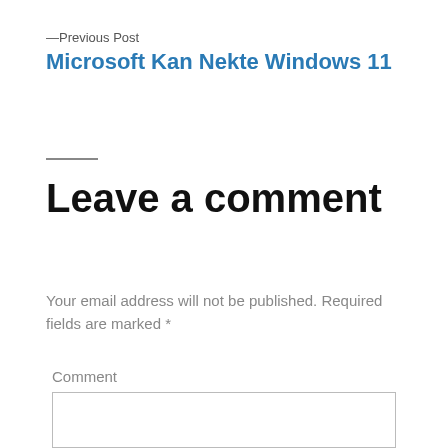—Previous Post
Microsoft Kan Nekte Windows 11
Leave a comment
Your email address will not be published. Required fields are marked *
Comment